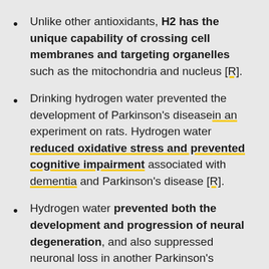Unlike other antioxidants, H2 has the unique capability of crossing cell membranes and targeting organelles such as the mitochondria and nucleus [R].
Drinking hydrogen water prevented the development of Parkinson's diseasein an experiment on rats. Hydrogen water reduced oxidative stress and prevented cognitive impairment associated with dementia and Parkinson's disease [R].
Hydrogen water prevented both the development and progression of neural degeneration, and also suppressed neuronal loss in another Parkinson's